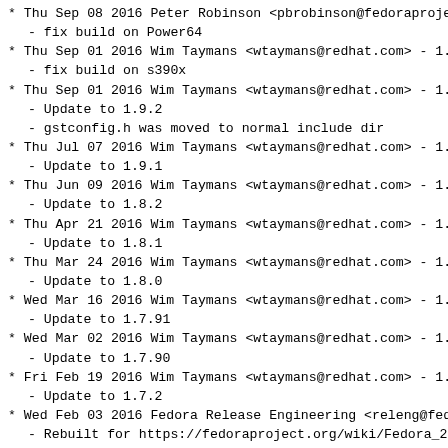* Thu Sep 08 2016 Peter Robinson <pbrobinson@fedoraproje
    - fix build on Power64
* Thu Sep 01 2016 Wim Taymans <wtaymans@redhat.com> - 1.9
    - fix build on s390x
* Thu Sep 01 2016 Wim Taymans <wtaymans@redhat.com> - 1.9
    - Update to 1.9.2
    - gstconfig.h was moved to normal include dir
* Thu Jul 07 2016 Wim Taymans <wtaymans@redhat.com> - 1.9
    - Update to 1.9.1
* Thu Jun 09 2016 Wim Taymans <wtaymans@redhat.com> - 1.8
    - Update to 1.8.2
* Thu Apr 21 2016 Wim Taymans <wtaymans@redhat.com> - 1.8
    - Update to 1.8.1
* Thu Mar 24 2016 Wim Taymans <wtaymans@redhat.com> - 1.8
    - Update to 1.8.0
* Wed Mar 16 2016 Wim Taymans <wtaymans@redhat.com> - 1.7
    - Update to 1.7.91
* Wed Mar 02 2016 Wim Taymans <wtaymans@redhat.com> - 1.7
    - Update to 1.7.90
* Fri Feb 19 2016 Wim Taymans <wtaymans@redhat.com> - 1.7
    - Update to 1.7.2
* Wed Feb 03 2016 Fedora Release Engineering <releng@fedo
    - Rebuilt for https://fedoraproject.org/wiki/Fedora_24_
* Mon Jan 04 2016 Wim Taymans <wtaymans@redhat.com> - 1.7
    - Update to 1.7.1
    - update rpm inspect patch
    - add gst-stats
    - add core traces
* Tue Dec 15 2015 Wim Taymans <wtaymans@redhat.com> - 1.6
    - Update to 1.6.2